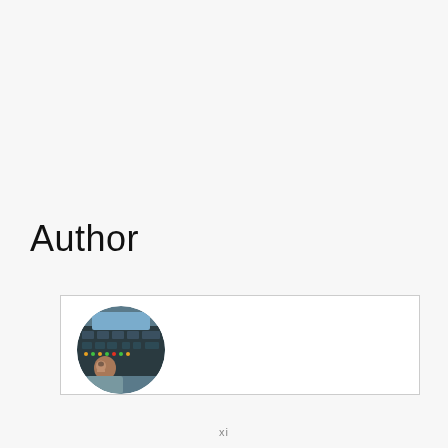Author
[Figure (photo): Author profile card with a circular avatar photo of a person in front of an airplane cockpit instrument panel]
xi